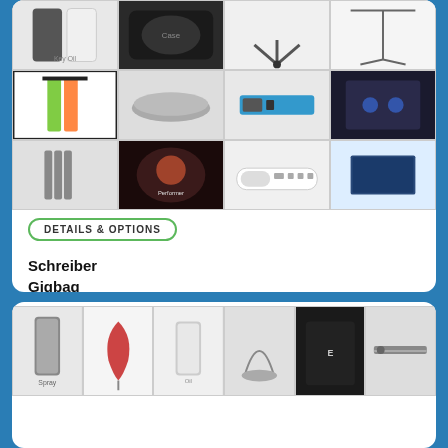[Figure (photo): Grid of product images showing various clarinet accessories including oils, cases, stands, tools, and equipment]
DETAILS & OPTIONS
Schreiber
Gigbag
Bb Clarinet: Gigbag
CONTACT US FOR PRICE
[Figure (photo): Row of product images showing clarinet cleaning and care accessories including sprays, swabs, cases and instruments]